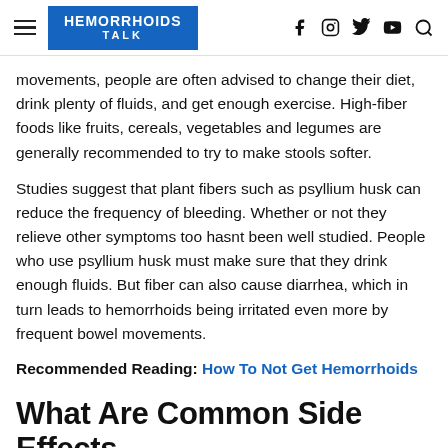HEMORRHOIDS TALK
movements, people are often advised to change their diet, drink plenty of fluids, and get enough exercise. High-fiber foods like fruits, cereals, vegetables and legumes are generally recommended to try to make stools softer.
Studies suggest that plant fibers such as psyllium husk can reduce the frequency of bleeding. Whether or not they relieve other symptoms too hasnt been well studied. People who use psyllium husk must make sure that they drink enough fluids. But fiber can also cause diarrhea, which in turn leads to hemorrhoids being irritated even more by frequent bowel movements.
Recommended Reading: How To Not Get Hemorrhoids
What Are Common Side Effects Of Hemorrhoid Medicine